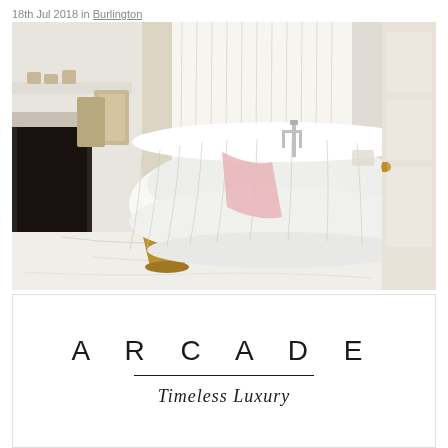18th Jul 2018 in Burlington
[Figure (photo): Luxury freestanding white ribbed bathtub in an elegant room with marble floor, fireplace, gold side table, pink towel draped over the tub, and sheer white curtains]
ARCADE
Timeless Luxury